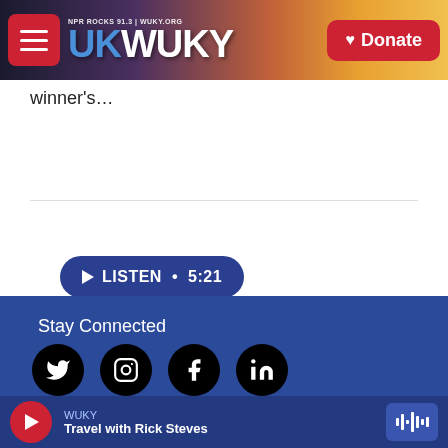[Figure (screenshot): WUKY NPR radio station header with UK logo, hamburger menu, and Donate button on sunset background]
winner's…
[Figure (other): Listen button with play icon showing duration 5:21]
[Figure (other): Load More button with blue border]
Stay Connected
[Figure (other): Social media icons: Twitter, Instagram, Facebook, LinkedIn]
© 2022 WUKY
[Figure (other): Now playing bar: WUKY - Travel with Rick Steves with red play button and waveform icon]